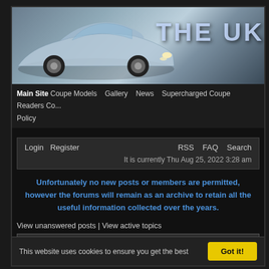[Figure (photo): Header image showing a silver Hyundai Coupe car with 'THE UK' text overlay on a dark/blue gradient background]
Main Site   Coupe Models   Gallery   News   Supercharged Coupe   Readers Co... Policy
Login   Register                                          RSS   FAQ   Search
It is currently Thu Aug 25, 2022 3:28 am
Unfortunately no new posts or members are permitted, however the forums will remain as an archive to retain all the useful information collected over the years.
View unanswered posts | View active topics
Board index                                    All times are UTC [ DST ]
Welcome Guest! Feel free to peruse the site, or Register to get the full benefits.
This website uses cookies to ensure you get the best